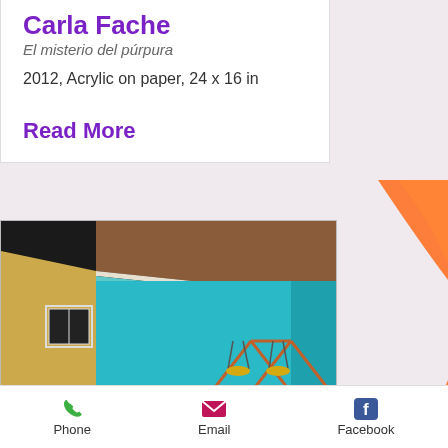Carla Fache
El misterio del púrpura
2012, Acrylic on paper, 24 x 16 in
Read More
[Figure (photo): Painting of a mid-century modern house exterior with teal/turquoise walls, a yellow wall on the left, a dark background sky, green grass in the foreground, and a small swing set visible on the right side.]
Phone  Email  Facebook